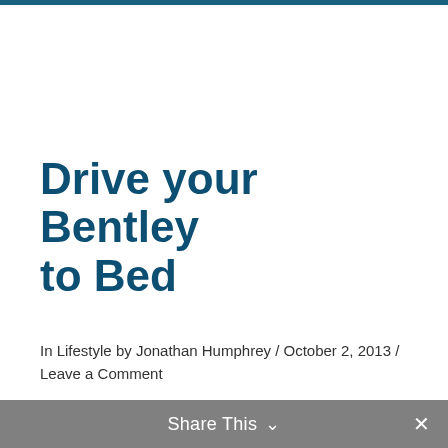Drive your Bentley to Bed
In Lifestyle by Jonathan Humphrey / October 2, 2013 / Leave a Comment
The latest from the New Bentley Home Collection
Share This ∨  ×